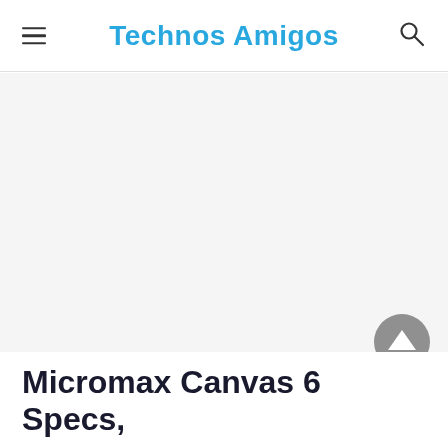Technos Amigos
[Figure (other): Large white/light grey advertisement or image placeholder area]
[Figure (other): Back to top button - circular grey button with upward pointing triangle/arrow]
Micromax Canvas 6 Specs,